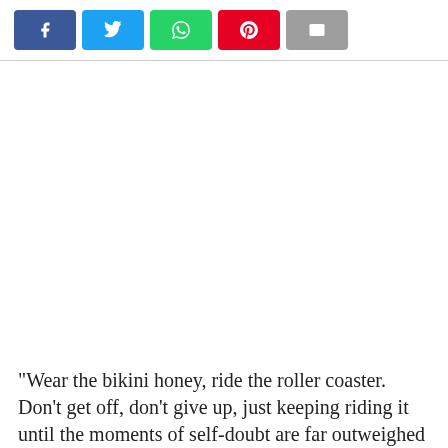[Figure (infographic): Row of five social share buttons: Facebook (dark blue, f icon), Twitter (light blue, bird icon), WhatsApp (green, phone icon), Pinterest (red, p icon), Email (grey, envelope icon)]
“Wear the bikini honey, ride the roller coaster. Don’t get off, don’t give up, just keeping riding it until the moments of self-doubt are far outweighed